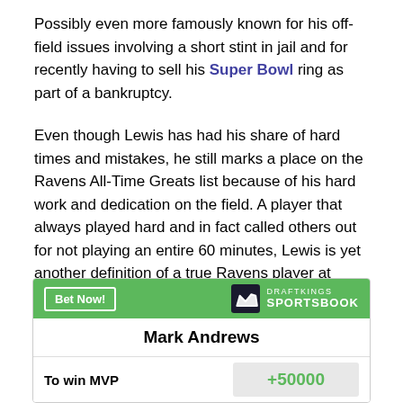Possibly even more famously known for his off-field issues involving a short stint in jail and for recently having to sell his Super Bowl ring as part of a bankruptcy.
Even though Lewis has had his share of hard times and mistakes, he still marks a place on the Ravens All-Time Greats list because of his hard work and dedication on the field. A player that always played hard and in fact called others out for not playing an entire 60 minutes, Lewis is yet another definition of a true Ravens player at heart.
[Figure (other): DraftKings Sportsbook betting widget showing Mark Andrews to win MVP at +50000 odds, with a green header containing a Bet Now! button and DraftKings Sportsbook logo]